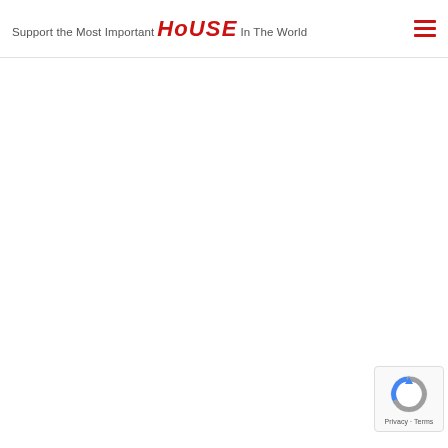Support the Most Important HOUSE In The World
[Figure (logo): reCAPTCHA badge with rotating arrow icon, showing 'Privacy - Terms' text]